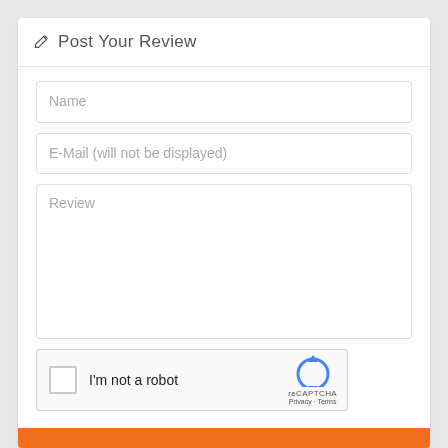Post Your Review
Name
E-Mail (will not be displayed)
Review
[Figure (screenshot): reCAPTCHA widget with checkbox labeled I'm not a robot]
I'm not a robot
reCAPTCHA
Privacy - Terms